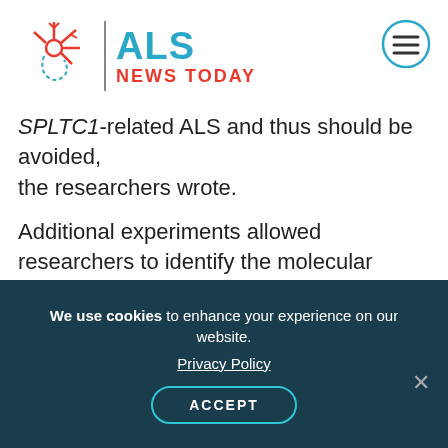ALS NEWS TODAY
SPLTC1-related ALS and thus should be avoided, the researchers wrote.
Additional experiments allowed researchers to identify the molecular mechanism underpinning this excessive sphingolipid production. Normally, a group of proteins called ORMDL proteins act to regulate SPT, preventing it from producing sphingolipids at elevated levels. However, the SPLTC1 mutations in these patients led to changes in the structure of the SPT protein, such that ORMDL proteins were no longer able to regulate it effectively.
We use cookies to enhance your experience on our website. Privacy Policy ACCEPT